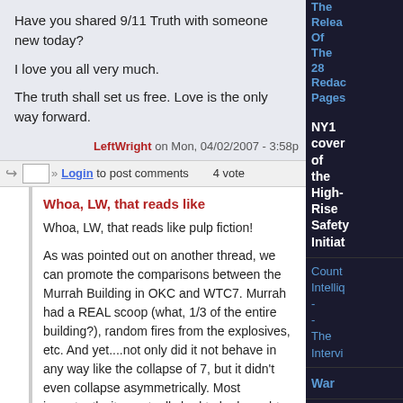Have you shared 9/11 Truth with someone new today?

I love you all very much.

The truth shall set us free. Love is the only way forward.
LeftWright on Mon, 04/02/2007 - 3:58p
Login to post comments   4 vote
Whoa, LW, that reads like
Whoa, LW, that reads like pulp fiction!

As was pointed out on another thread, we can promote the comparisons between the Murrah Building in OKC and WTC7. Murrah had a REAL scoop (what, 1/3 of the entire building?), random fires from the explosives, etc. And yet....not only did it not behave in any way like the collapse of 7, but it didn't even collapse asymmetrically. Most importantly, it eventually had to be brought down through controlled demolition!
The Relea Of The 28 Redac Pages
NY1 cover of the High-Rise Safety Initiat
Count Intellig - - The Intervi
War